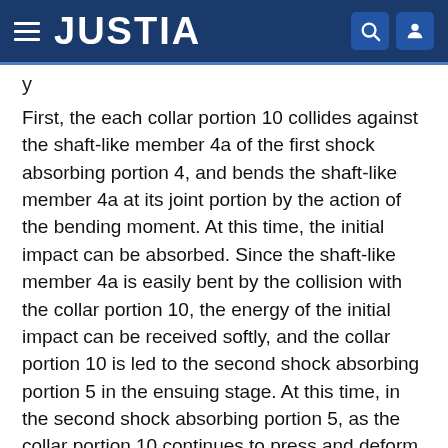JUSTIA
First, the each collar portion 10 collides against the shaft-like member 4a of the first shock absorbing portion 4, and bends the shaft-like member 4a at its joint portion by the action of the bending moment. At this time, the initial impact can be absorbed. Since the shaft-like member 4a is easily bent by the collision with the collar portion 10, the energy of the initial impact can be received softly, and the collar portion 10 is led to the second shock absorbing portion 5 in the ensuing stage. At this time, in the second shock absorbing portion 5, as the collar portion 10 continues to press and deform the crushable inner peripheral edges 5a of the second shock absorbing portion 5, the impact is made to disappear gradually.
Further, as the resiliently supporting portions 11 formed